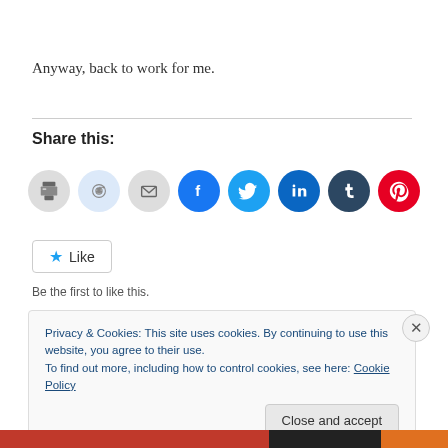Anyway, back to work for me.
Share this:
[Figure (other): Row of social sharing icon circles: print, reddit, email, facebook, twitter, linkedin, tumblr, pinterest]
Like  Be the first to like this.
Privacy & Cookies: This site uses cookies. By continuing to use this website, you agree to their use.
To find out more, including how to control cookies, see here: Cookie Policy
[Close and accept]